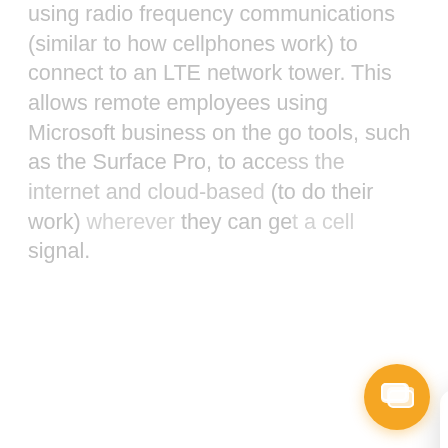using radio frequency communications (similar to how cellphones work) to connect to an LTE network tower. This allows remote employees using Microsoft business on the go tools, such as the Surface Pro, to access the internet and cloud-based (to do their work) wherever they can get a cell signal.
Visit the store for more specifications.
Microsoft Surface
[Figure (screenshot): Chat popup overlay with circular avatar photo of a woman, a close (X) button, greeting text 'Hey there ---', bold message 'We're here to help you and your business....', and question 'Do you have a question?'. An orange circular chat button with chat icon appears at bottom right.]